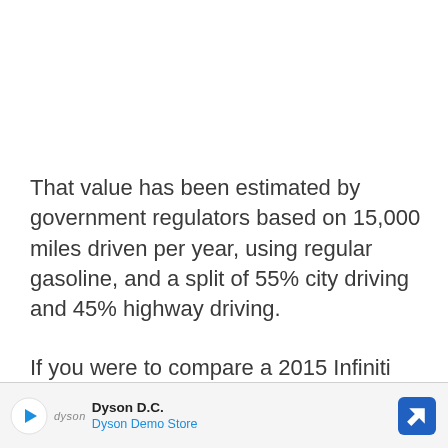That value has been estimated by government regulators based on 15,000 miles driven per year, using regular gasoline, and a split of 55% city driving and 45% highway driving.
If you were to compare a 2015 Infiniti QX60 Hybrid FWD to an average vehicle over [more on]
[Figure (other): Advertisement banner for Dyson D.C. Dyson Demo Store with Dyson logo and navigation arrow icon]